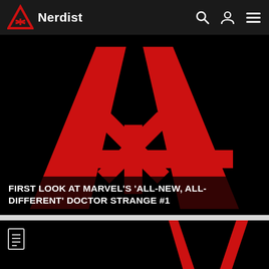[Figure (logo): Nerdist website header with logo (triangle with asterisk), site name 'Nerdist', and nav icons for search, user, and menu]
[Figure (photo): Black background with large red letter A shape (Nerdist logo) with asterisk crossbar in the center — article hero image]
FIRST LOOK AT MARVEL'S 'ALL-NEW, ALL-DIFFERENT' DOCTOR STRANGE #1
[Figure (photo): Second article card: black background with red partial A logo shape, document icon in upper left corner]